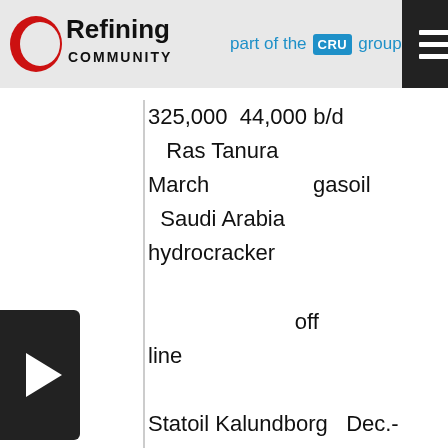Refining Community — part of the CRU group
325,000  44,000 b/d
  Ras Tanura
March                gasoil
  Saudi Arabia
hydrocracker

                              off
line

Statoil Kalundborg   Dec.-
partial   110,000  Maintenance
  Denmark
March                started Dec.
                              27 to

increase